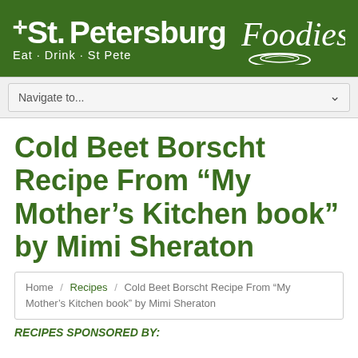St. Petersburg Foodies — Eat · Drink · St Pete
Navigate to...
Cold Beet Borscht Recipe From “My Mother’s Kitchen book” by Mimi Sheraton
Home / Recipes / Cold Beet Borscht Recipe From “My Mother’s Kitchen book” by Mimi Sheraton
RECIPES SPONSORED BY: